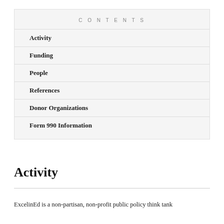CONTENTS
Activity
Funding
People
References
Donor Organizations
Form 990 Information
Activity
ExcelinEd is a non-partisan, non-profit public policy think tank